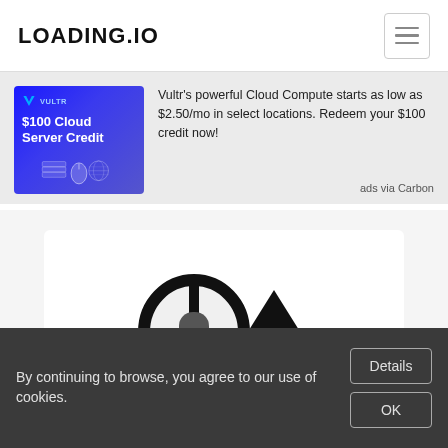LOADING.IO
[Figure (infographic): Vultr advertisement banner: dark blue background with VULTR logo, '$100 Cloud Server Credit' text and server/network icons on left. Right side text: Vultr's powerful Cloud Compute starts as low as $2.50/mo in select locations. Redeem your $100 credit now! ads via Carbon]
[Figure (illustration): Mouse scroll-up loading icon: stylized black mouse outline with scroll wheel and upward arrow, on white background inside a rounded rectangle card]
By continuing to browse, you agree to our use of cookies.